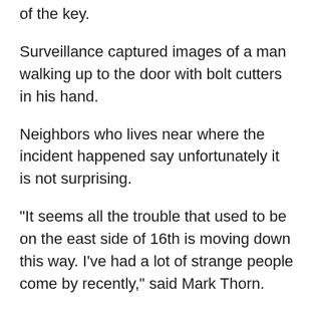of the key.
Surveillance captured images of a man walking up to the door with bolt cutters in his hand.
Neighbors who lives near where the incident happened say unfortunately it is not surprising.
"It seems all the trouble that used to be on the east side of 16th is moving down this way. I've had a lot of strange people come by recently," said Mark Thorn.
The victim later found broken pieces of the lock box on her property.
Investigators say this man was prepared to cut the lock box, and has probably done this at other homes.
The responding deputy advised the family to change